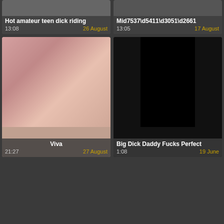[Figure (screenshot): Video thumbnail grid showing adult video website interface with 4 video cards in 2x2 grid. Top-left card partially visible: 'Hot amateur teen dick riding', duration 13:08, date 26 August. Top-right card partially visible: 'Mid7537\d5411\d3051\d2661', duration 13:05, date 17 August. Bottom-left card: 'Viva', duration 21:27, date 27 August, pink-toned thumbnail. Bottom-right card: 'Big Dick Daddy Fucks Perfect', duration 1:08, date 19 June, dark thumbnail.]